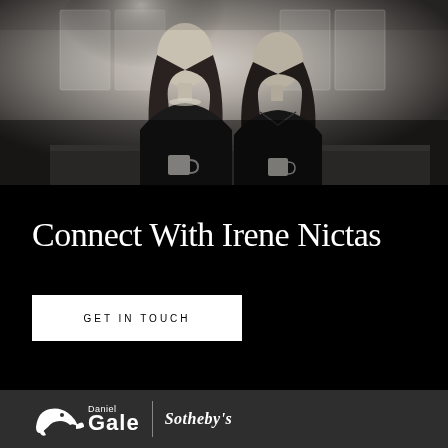[Figure (photo): Black and white photo of two women in dark clothing, holding coffee mugs, smiling at each other in a kitchen setting]
Connect With Irene Nictas
GET IN TOUCH
[Figure (logo): Daniel Gale Sotheby's logo with whale icon on dark gray background]